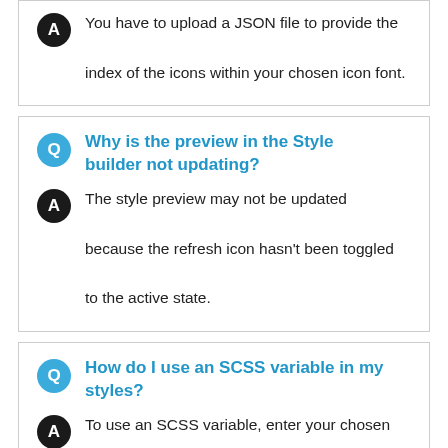You have to upload a JSON file to provide the index of the icons within your chosen icon font.
Why is the preview in the Style builder not updating?
The style preview may not be updated because the refresh icon hasn't been toggled to the active state.
How do I use an SCSS variable in my styles?
To use an SCSS variable, enter your chosen